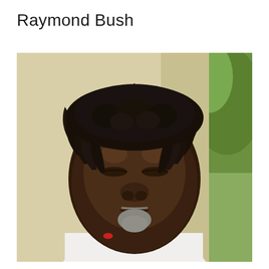Raymond Bush
[Figure (photo): Close-up portrait photograph of Raymond Bush, an older Aboriginal Australian man with dark dreadlocked hair, deeply lined face, closed or nearly closed eyes, a grey goatee beard, wearing a white singlet/tank top. Background shows a blurred beige wall and green foliage.]